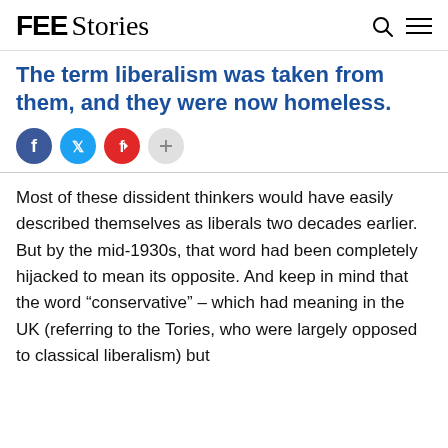FEE Stories
The term liberalism was taken from them, and they were now homeless.
[Figure (other): Social sharing buttons: Facebook, Twitter, Flipboard, Share]
Most of these dissident thinkers would have easily described themselves as liberals two decades earlier. But by the mid-1930s, that word had been completely hijacked to mean its opposite. And keep in mind that the word “conservative” – which had meaning in the UK (referring to the Tories, who were largely opposed to classical liberalism) but